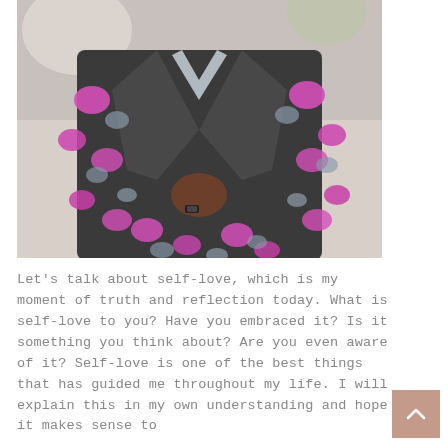[Figure (photo): A person wearing a dark gray blazer with vibrant pink and gray floral pattern on the sleeves and lower body. The person is wearing a ring and has one hand on their hip. The background is blurred white/light.]
Let's talk about self-love, which is my moment of truth and reflection today. What is self-love to you? Have you embraced it? Is it something you think about? Are you even aware of it? Self-love is one of the best things that has guided me throughout my life. I will explain this in my own understanding and hope it makes sense to